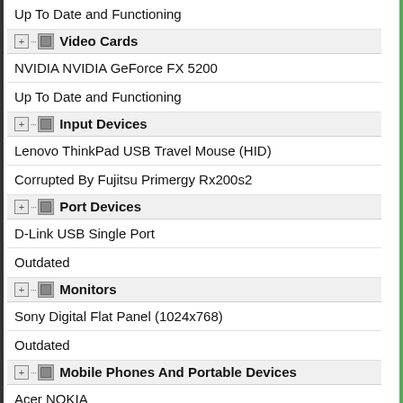Up To Date and Functioning
Video Cards
NVIDIA NVIDIA GeForce FX 5200
Up To Date and Functioning
Input Devices
Lenovo ThinkPad USB Travel Mouse (HID)
Corrupted By Fujitsu Primergy Rx200s2
Port Devices
D-Link USB Single Port
Outdated
Monitors
Sony Digital Flat Panel (1024x768)
Outdated
Mobile Phones And Portable Devices
Acer NOKIA